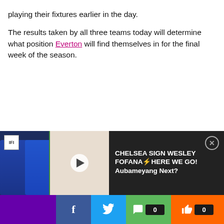playing their fixtures earlier in the day.
The results taken by all three teams today will determine what position Everton will find themselves in for the final week of the season.
[Figure (screenshot): Video banner showing Chelsea sign Wesley Fofana Here We Go! Aubameyang Next? with player images and social sharing bar]
Social sharing bar with Facebook, Twitter, comment count 0, and like count 0